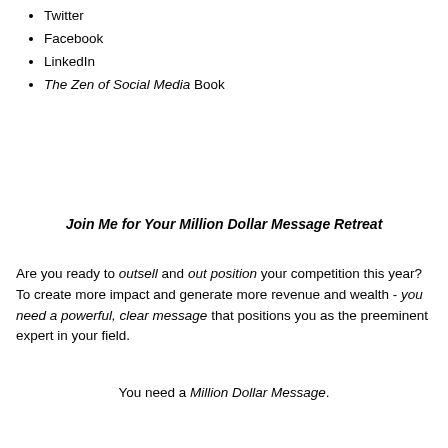Twitter
Facebook
LinkedIn
The Zen of Social Media Book
Join Me for Your Million Dollar Message Retreat
Are you ready to outsell and out position your competition this year? To create more impact and generate more revenue and wealth - you need a powerful, clear message that positions you as the preeminent expert in your field.
You need a Million Dollar Message.